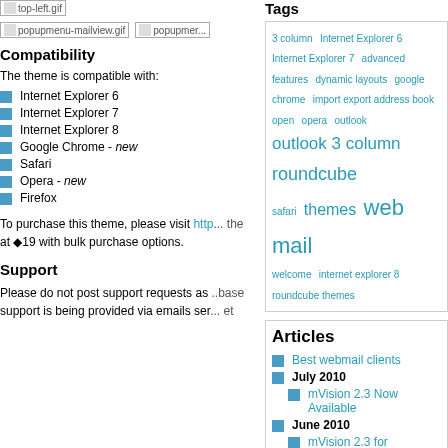[Figure (photo): Broken image placeholder: top-left.gif]
[Figure (photo): Broken image placeholder: popupmenu-mailview.gif]
[Figure (photo): Broken image placeholder: popupmenu (partial)]
Compatibility
The theme is compatible with:
Internet Explorer 6
Internet Explorer 7
Internet Explorer 8
Google Chrome - new
Safari
Opera - new
Firefox
To purchase this theme, please visit http... the at €19 with bulk purchase options.
Support
Please do not post support requests as support is being provided via emails ser... base ...et
Tags
3 column  Internet Explorer 6  Internet Explorer 7  advanced features  dynamic layouts  google chrome  import export address book  open  opera  outlook  outlook 3 column  roundcube  safari  themes  web mail  welcome  internet explorer 8  roundcube themes
Articles
Best webmail clients
July 2010
mVision 2.3 Now Available
June 2010
mVision 2.3 for RoundCube 0.4-beta Screenshots
May 2009
MVISION v2.2 - With IE 8 Support
MVISION v2.1 - Now supports IE 8
October 2008
MVISION v2 - Outlook vs MVISION
RoundCube Theme; MVISION
RoundCube Theme; Outlook 3 Column Theme